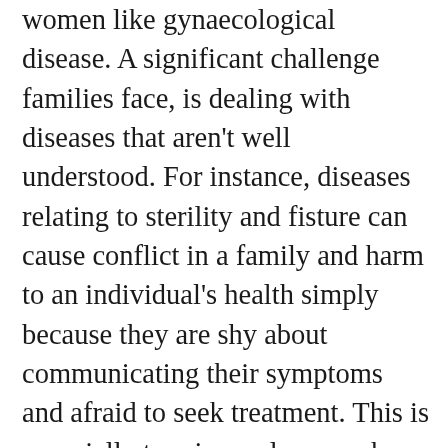women like gynaecological disease. A significant challenge families face, is dealing with diseases that aren't well understood. For instance, diseases relating to sterility and fisture can cause conflict in a family and harm to an individual's health simply because they are shy about communicating their symptoms and afraid to seek treatment. This is especially true in rural areas where specialists in gynaecology are difficult to find. PDD works to raise awareness of this issue in communities and help make possible medical checkups so that individuals can receive treatment.